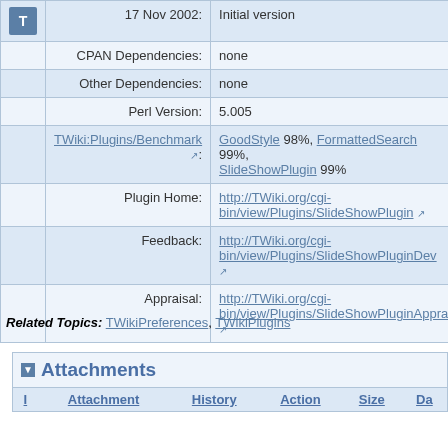| Label | Value |
| --- | --- |
| 17 Nov 2002: | Initial version |
| CPAN Dependencies: | none |
| Other Dependencies: | none |
| Perl Version: | 5.005 |
| TWiki:Plugins/Benchmark ↗: | GoodStyle 98%, FormattedSearch 99%, SlideShowPlugin 99% |
| Plugin Home: | http://TWiki.org/cgi-bin/view/Plugins/SlideShowPlugin ↗ |
| Feedback: | http://TWiki.org/cgi-bin/view/Plugins/SlideShowPluginDev ↗ |
| Appraisal: | http://TWiki.org/cgi-bin/view/Plugins/SlideShowPluginAppra... ↗ |
Related Topics: TWikiPreferences, TWikiPlugins
Attachments
| I | Attachment | History | Action | Size | Da |
| --- | --- | --- | --- | --- | --- |